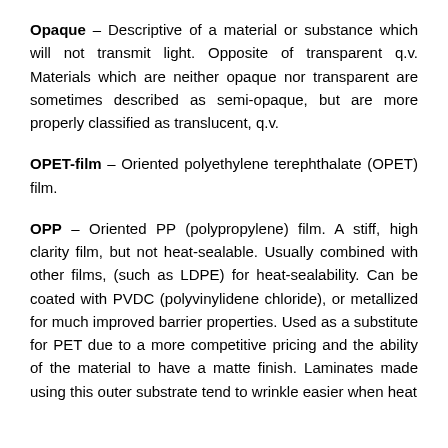Opaque – Descriptive of a material or substance which will not transmit light. Opposite of transparent q.v. Materials which are neither opaque nor transparent are sometimes described as semi-opaque, but are more properly classified as translucent, q.v.
OPET-film – Oriented polyethylene terephthalate (OPET) film.
OPP – Oriented PP (polypropylene) film. A stiff, high clarity film, but not heat-sealable. Usually combined with other films, (such as LDPE) for heat-sealability. Can be coated with PVDC (polyvinylidene chloride), or metallized for much improved barrier properties. Used as a substitute for PET due to a more competitive pricing and the ability of the material to have a matte finish. Laminates made using this outer substrate tend to wrinkle easier when heat